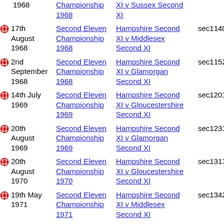1968 | Second Eleven Championship 1968 | Hampshire Second XI v Sussex Second XI
17th August 1968 | Second Eleven Championship 1968 | Hampshire Second XI v Middlesex Second XI | sec1140
2nd September 1968 | Second Eleven Championship 1968 | Hampshire Second XI v Glamorgan Second XI | sec1152
14th July 1969 | Second Eleven Championship 1969 | Hampshire Second XI v Gloucestershire Second XI | sec1201
20th August 1969 | Second Eleven Championship 1969 | Hampshire Second XI v Glamorgan Second XI | sec1231
20th August 1970 | Second Eleven Championship 1970 | Hampshire Second XI v Gloucestershire Second XI | sec1317
19th May 1971 | Second Eleven Championship 1971 | Hampshire Second XI v Middlesex Second XI | sec1342
16th August 1971 | Second Eleven Championship 1971 | Hampshire Second XI v Gloucestershire Second XI | sec1402